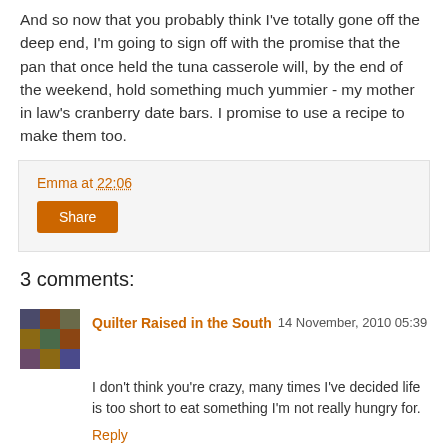And so now that you probably think I've totally gone off the deep end, I'm going to sign off with the promise that the pan that once held the tuna casserole will, by the end of the weekend, hold something much yummier - my mother in law's cranberry date bars. I promise to use a recipe to make them too.
Emma at 22:06
Share
3 comments:
Quilter Raised in the South  14 November, 2010 05:39
I don't think you're crazy, many times I've decided life is too short to eat something I'm not really hungry for.
Reply
Julie Fukuda  14 November, 2010 10:09